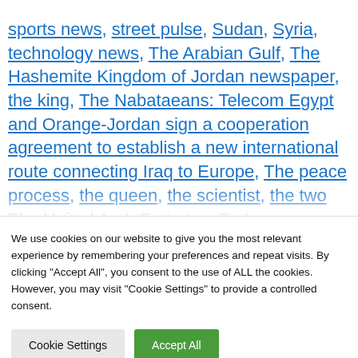sports news, street pulse, Sudan, Syria, technology news, The Arabian Gulf, The Hashemite Kingdom of Jordan newspaper, the king, The Nabataeans: Telecom Egypt and Orange-Jordan sign a cooperation agreement to establish a new international route connecting Iraq to Europe, The peace process, the queen, the scientist, the two ... The United Arab Emirates, Turk...
We use cookies on our website to give you the most relevant experience by remembering your preferences and repeat visits. By clicking "Accept All", you consent to the use of ALL the cookies. However, you may visit "Cookie Settings" to provide a controlled consent.